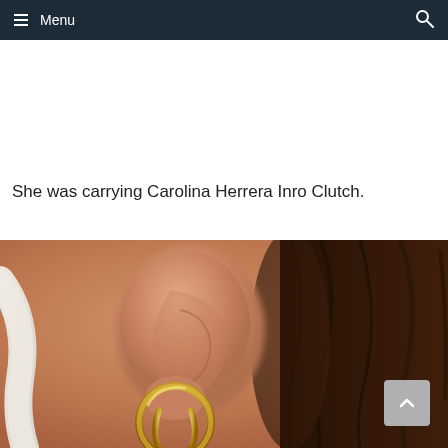Menu
She was carrying Carolina Herrera Inro Clutch.
[Figure (photo): Close-up photograph of a person's ear wearing a gold hoop earring, with dark hair visible on the right side and a light-colored strap on the left.]